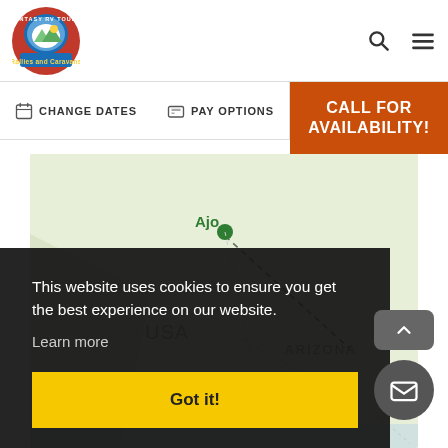[Figure (logo): Fantasy RV Tours Rallies and Caravans circular logo badge]
CHANGE DATES
PAY OPTIONS
CALL FOR AVAILABILITY!
[Figure (map): Map showing Ajo location in Arizona USA with dashed route line]
This website uses cookies to ensure you get the best experience on our website. Learn more
Got it!